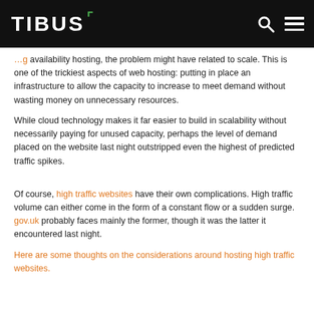TIBUS
availability hosting, the problem might have related to scale. This is one of the trickiest aspects of web hosting: putting in place an infrastructure to allow the capacity to increase to meet demand without wasting money on unnecessary resources.
While cloud technology makes it far easier to build in scalability without necessarily paying for unused capacity, perhaps the level of demand placed on the website last night outstripped even the highest of predicted traffic spikes.
Of course, high traffic websites have their own complications. High traffic volume can either come in the form of a constant flow or a sudden surge. gov.uk probably faces mainly the former, though it was the latter it encountered last night.
Here are some thoughts on the considerations around hosting high traffic websites.